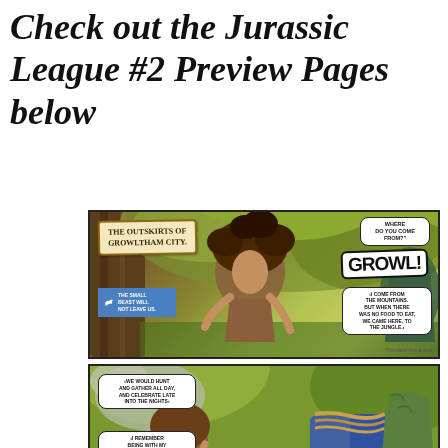Check out the Jurassic League #2 Preview Pages below
[Figure (illustration): Comic book preview page showing two panels from Jurassic League #2. Top panel: A wild-haired prehistoric girl character in a jungle setting with speech bubbles. Location caption reads 'The Outskirts of Growltham City.' Speech bubbles include 'Where do you come from?', 'GROWL!', a blue Twitter/bird captionbox reading 'The small beast will not leave us.', and 'I come from the mountains. But when there was no food to eat, we came here, to the jungle.' with a '*Translated from animal' footnote. Bottom panel shows two characters in jungle, with speech bubbles: 'We would hunt and gather all day, and celebrate late into the nights' and 'I remember being with my mom, my sister and my dad.']